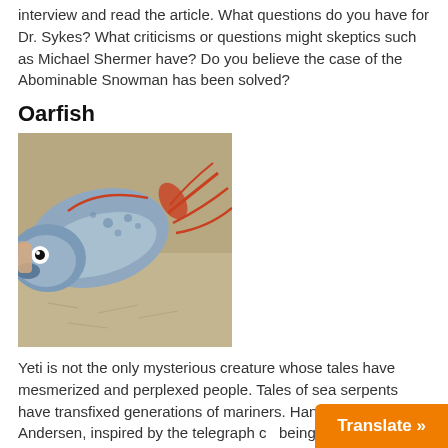interview and read the article. What questions do you have for Dr. Sykes? What criticisms or questions might skeptics such as Michael Shermer have? Do you believe the case of the Abominable Snowman has been solved?
Oarfish
[Figure (photo): Photo of an oarfish lying on sandy ground. The fish has a large silvery-blue body with spots and a distinctive round eye. Red oar-like fin appendages extend to the right side. Human hands are visible at the left edge holding the fish.]
Yeti is not the only mysterious creature whose tales have mesmerized and perplexed people. Tales of sea serpents have transfixed generations of mariners. Hans Christian Andersen, inspired by the telegraph cable being laid in the Atlantic Ocean, adde...